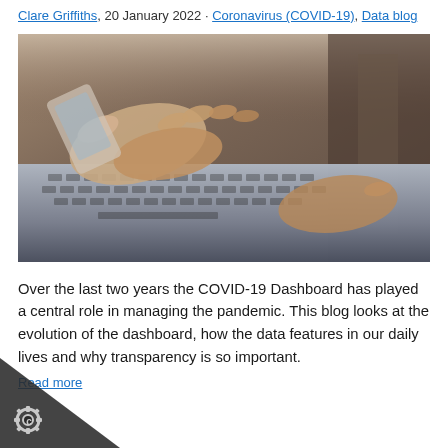Clare Griffiths, 20 January 2022 · Coronavirus (COVID-19), Data blog
[Figure (photo): Close-up photo of hands typing on a laptop keyboard while holding a smartphone, with blurred background.]
Over the last two years the COVID-19 Dashboard has played a central role in managing the pandemic. This blog looks at the evolution of the dashboard, how the data features in our daily lives and why transparency is so important.
Read more